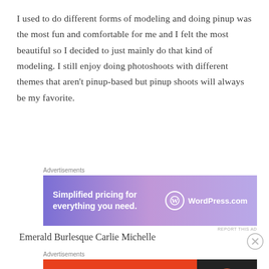I used to do different forms of modeling and doing pinup was the most fun and comfortable for me and I felt the most beautiful so I decided to just mainly do that kind of modeling. I still enjoy doing photoshoots with different themes that aren't pinup-based but pinup shoots will always be my favorite.
[Figure (screenshot): WordPress.com advertisement banner: 'Simplified pricing for everything you need.' with WordPress.com logo on blue-purple gradient background]
[Figure (illustration): Broken image placeholder followed by text: Emerald Burlesque Carlie Michelle]
[Figure (screenshot): DuckDuckGo advertisement banner: 'Search, browse, and email with more privacy. All in One Free App' with DuckDuckGo logo on orange/dark background]